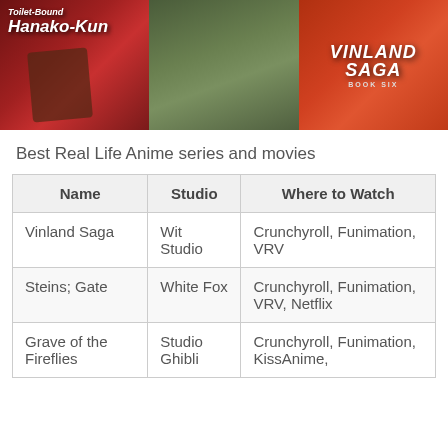[Figure (photo): Banner image showing three anime panels: Toilet-Bound Hanako-Kun on the left (red background with character), a middle panel showing a character in a green outdoor setting, and Vinland Saga on the right with orange/red background and stylized title text.]
Best Real Life Anime series and movies
| Name | Studio | Where to Watch |
| --- | --- | --- |
| Vinland Saga | Wit Studio | Crunchyroll, Funimation, VRV |
| Steins; Gate | White Fox | Crunchyroll, Funimation, VRV, Netflix |
| Grave of the Fireflies | Studio Ghibli | Crunchyroll, Funimation, KissAnime, |